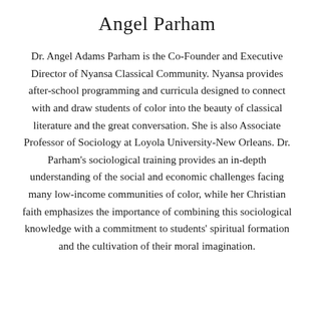Angel Parham
Dr. Angel Adams Parham is the Co-Founder and Executive Director of Nyansa Classical Community. Nyansa provides after-school programming and curricula designed to connect with and draw students of color into the beauty of classical literature and the great conversation. She is also Associate Professor of Sociology at Loyola University-New Orleans. Dr. Parham's sociological training provides an in-depth understanding of the social and economic challenges facing many low-income communities of color, while her Christian faith emphasizes the importance of combining this sociological knowledge with a commitment to students' spiritual formation and the cultivation of their moral imagination.